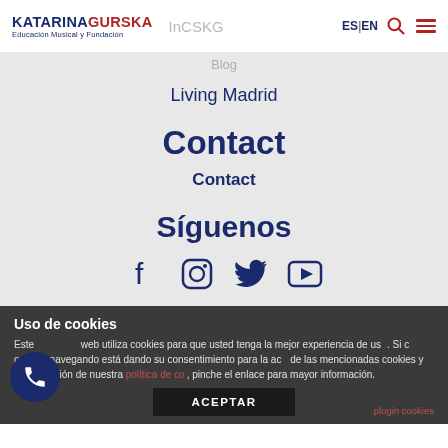KATARINA GURSKA Educación Musical y Fundación | InCSKG | ES | EN
Blog
Living Madrid
Contact
Contact
Síguenos
[Figure (infographic): Social media icons: Facebook, Instagram, Twitter, YouTube]
Uso de cookies
Este web utiliza cookies para que usted tenga la mejor experiencia de uso. Si continúa navegando está dando su consentimiento para la aceptación de las mencionadas cookies y la aceptación de nuestra política de cookies, pinche el enlace para mayor información.
plugin cookies
ACEPTAR